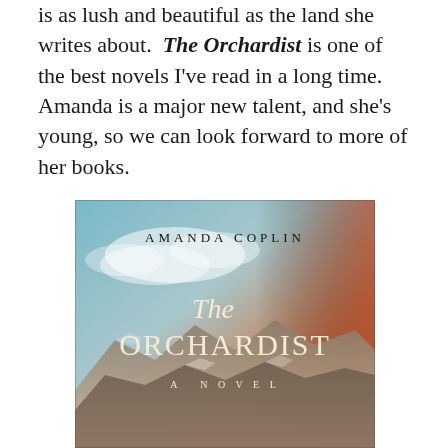is as lush and beautiful as the land she writes about. The Orchardist is one of the best novels I've read in a long time. Amanda is a major new talent, and she's young, so we can look forward to more of her books.
[Figure (illustration): Book cover of 'The Orchardist' by Amanda Coplin. A novel. Features a landscape with mountains, reddish-orange sky and clouds. Text on cover: AMANDA COPLIN at top, then stylized script 'The' followed by large serif text ORCHARDIST, then A NOVEL below.]